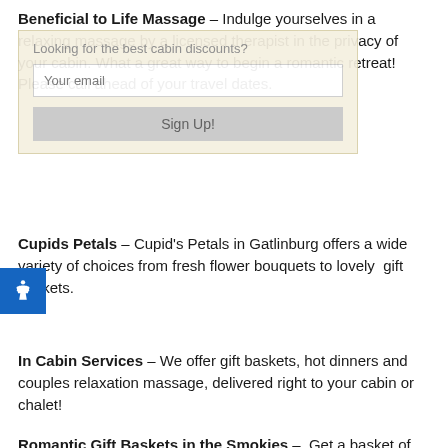Beneficial to Life Massage – Indulge yourselves in a relaxing massage by a licensed therapist in the privacy of your cabin. What a great way to begin a romantic retreat! Please call ahead of your travel dates.
Cupids Petals – Cupid's Petals in Gatlinburg offers a wide variety of choices from fresh flower bouquets to lovely gift baskets.
In Cabin Services – We offer gift baskets, hot dinners and couples relaxation massage, delivered right to your cabin or chalet!
Romantic Gift Baskets in the Smokies – Get a basket of romance that includes a spa basket for him and her, gourmet treats, and special delights delivered right to your cabin.